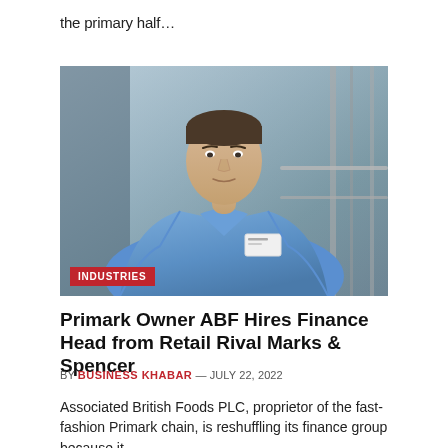the primary half…
[Figure (photo): A middle-aged man in a blue button-up shirt with a name badge, seated in a modern office or retail environment with glass and steel architectural elements in the background. An 'INDUSTRIES' red label tag is overlaid at the bottom-left of the photo.]
Primark Owner ABF Hires Finance Head from Retail Rival Marks & Spencer
BY BUSINESS KHABAR — JULY 22, 2022
Associated British Foods PLC, proprietor of the fast-fashion Primark chain, is reshuffling its finance group because it